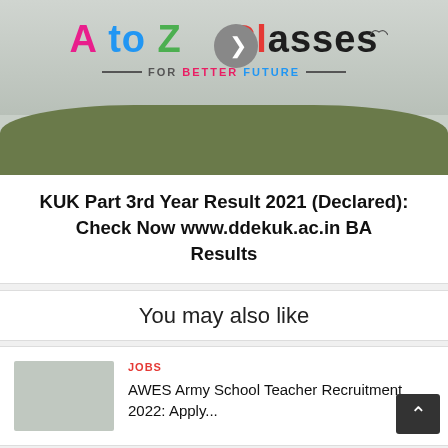[Figure (logo): A to Z Classes logo with grass background and play button overlay. Text reads 'A to Z Classes FOR BETTER FUTURE']
KUK Part 3rd Year Result 2021 (Declared): Check Now www.ddekuk.ac.in BA Results
You may also like
JOBS
AWES Army School Teacher Recruitment 2022: Apply...
JOBS
Patna AIIMS Recruitment 2022: Apply Online for...